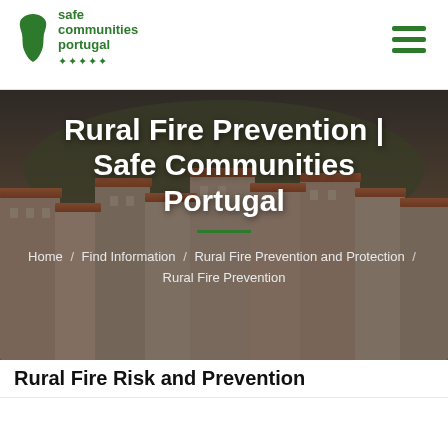[Figure (logo): Safe Communities Portugal logo with green Portugal map silhouette and text]
Rural Fire Prevention | Safe Communities Portugal
Home / Find Information / Rural Fire Prevention and Protection / Rural Fire Prevention
Rural Fire Risk and Prevention
[Figure (photo): Landscape photo with cloudy sky and green hillside/vegetation]